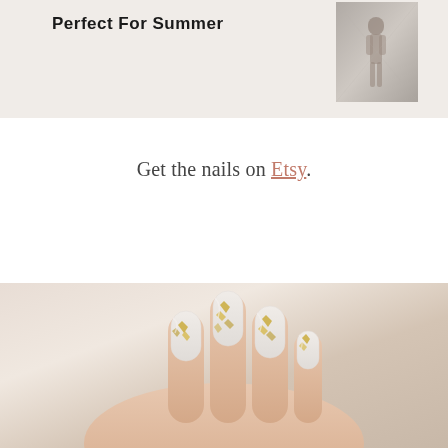Perfect For Summer
[Figure (photo): Person in a summer outfit walking, full body shot against a glass/street background]
Get the nails on Etsy.
[Figure (photo): Close-up of hand with white and gold foil nail art on long almond-shaped nails]